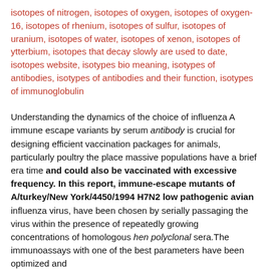isotopes of nitrogen, isotopes of oxygen, isotopes of oxygen-16, isotopes of rhenium, isotopes of sulfur, isotopes of uranium, isotopes of water, isotopes of xenon, isotopes of ytterbium, isotopes that decay slowly are used to date, isotopes website, isotypes bio meaning, isotypes of antibodies, isotypes of antibodies and their function, isotypes of immunoglobulin
Understanding the dynamics of the choice of influenza A immune escape variants by serum antibody is crucial for designing efficient vaccination packages for animals, particularly poultry the place massive populations have a brief era time and could also be vaccinated with excessive frequency. In this report, immune-escape mutants of A/turkey/New York/4450/1994 H7N2 low pathogenic avian influenza virus, have been chosen by serially passaging the virus within the presence of repeatedly growing concentrations of homologous hen polyclonal sera.The immunoassays with one of the best parameters have been optimized and